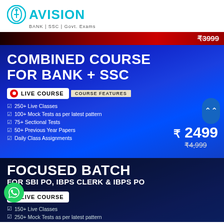[Figure (logo): Avision logo with circular icon and text: BANK | SSC | Govt. Exams]
[Figure (infographic): Promotional banner for Combined Course for Bank + SSC. Live Course badge. Course Features: 250+ Live Classes, 100+ Mock Tests as per latest pattern, 75+ Sectional Tests, 50+ Previous Year Papers, Daily Class Assignments. Price ₹2499 (original ₹4,999). Strikethrough price ₹3999 at top.]
[Figure (infographic): Promotional banner for Focused Batch for SBI PO, IBPS Clerk & IBPS PO. Live Course badge. Features: 150+ Live Classes, 250+ Mock Tests as per latest pattern, 75+ Sectional Tests.]